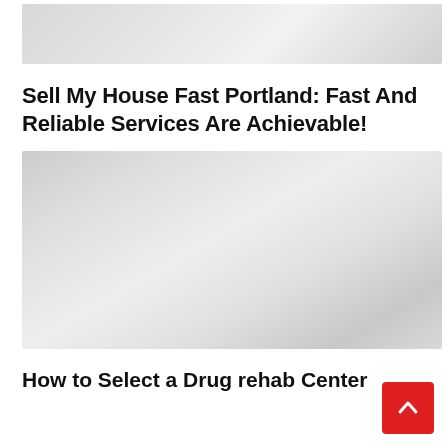[Figure (photo): Gray placeholder image at top of page]
Sell My House Fast Portland: Fast And Reliable Services Are Achievable!
[Figure (photo): Large gray placeholder image in center of page]
How to Select a Drug rehab Center